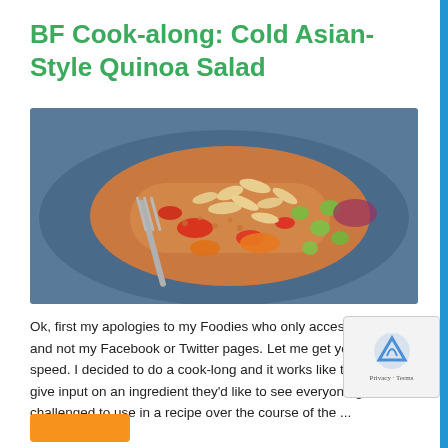BF Cook-along: Cold Asian-Style Quinoa Salad
[Figure (photo): A close-up photo of a cold Asian-style quinoa salad served on a dark blue plate, showing quinoa mixed with colorful vegetables including red peppers, orange carrots, green edamame beans, and topped with sliced almonds. A fork is visible on the left side of the plate.]
Ok, first my apologies to my Foodies who only access the blog and not my Facebook or Twitter pages. Let me get you up to speed. I decided to do a cook-long and it works like this. Follo... give input on an ingredient they'd like to see everyone g... challenged to use in a recipe over the course of the ...